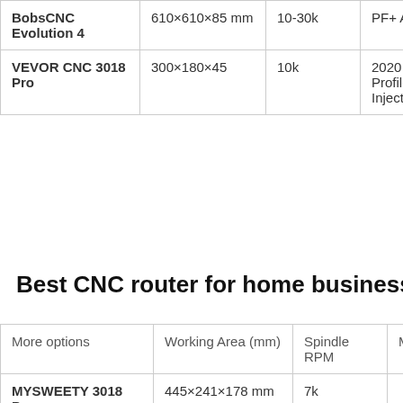| More options | Working Area (mm) | Spindle RPM | Material |  |
| --- | --- | --- | --- | --- |
| BobsCNC Evolution 4 | 610×610×85 mm | 10-30k | PF+ Aluminum | 115 |
| VEVOR CNC 3018 Pro | 300×180×45 | 10k | 2020 Aluminum Profile & Injection | 110 |
Best CNC router for home business: othe
| More options | Working Area (mm) | Spindle RPM | Material |
| --- | --- | --- | --- |
| MYSWEETY 3018 Pro | 445×241×178 mm | 7k |  |